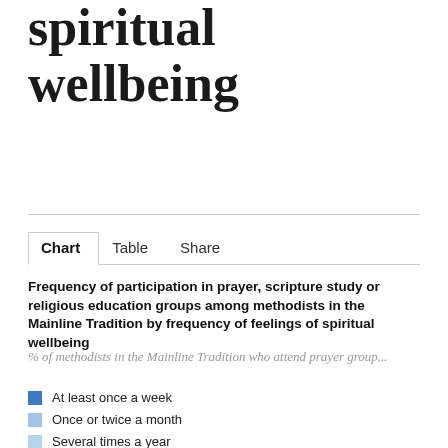spiritual wellbeing
Chart | Table | Share
Frequency of participation in prayer, scripture study or religious education groups among methodists in the Mainline Tradition by frequency of feelings of spiritual wellbeing
% of methodists in the Mainline Tradition who attend prayer group...
At least once a week
Once or twice a month
Several times a year
Seldom/never